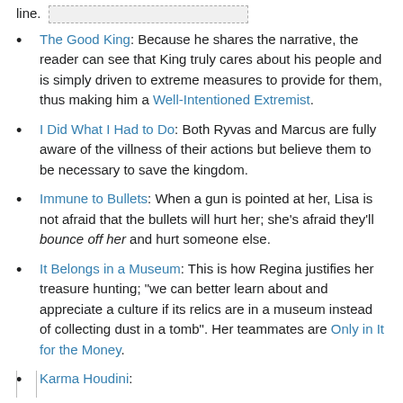line.
The Good King: Because he shares the narrative, the reader can see that King truly cares about his people and is simply driven to extreme measures to provide for them, thus making him a Well-Intentioned Extremist.
I Did What I Had to Do: Both Ryvas and Marcus are fully aware of the villness of their actions but believe them to be necessary to save the kingdom.
Immune to Bullets: When a gun is pointed at her, Lisa is not afraid that the bullets will hurt her; she's afraid they'll bounce off her and hurt someone else.
It Belongs in a Museum: This is how Regina justifies her treasure hunting; "we can better learn about and appreciate a culture if its relics are in a museum instead of collecting dust in a tomb". Her teammates are Only in It for the Money.
Karma Houdini: